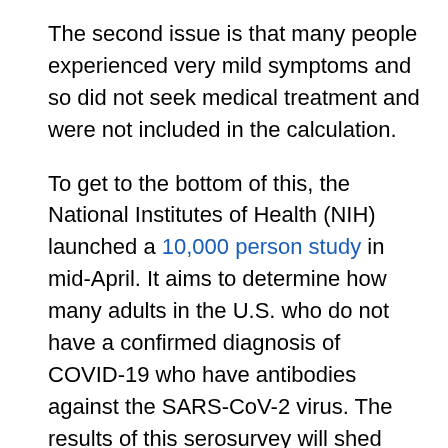The second issue is that many people experienced very mild symptoms and so did not seek medical treatment and were not included in the calculation.
To get to the bottom of this, the National Institutes of Health (NIH) launched a 10,000 person study in mid-April. It aims to determine how many adults in the U.S. who do not have a confirmed diagnosis of COVID-19 who have antibodies against the SARS-CoV-2 virus. The results of this serosurvey will shed light on the spread of this virus throughout the U.S. and on which populations and communities are most affected.
“An antibody test is looking back into the immune system’s history with a rear-view mirror,” said Matthew J. Memoli, M.D., M.S., principal investigator of the study and director of NIAID’s Laboratory of Infectious Diseases Clinical Studies Unit. “By analyzing an individual’s blood, we can determine if that person